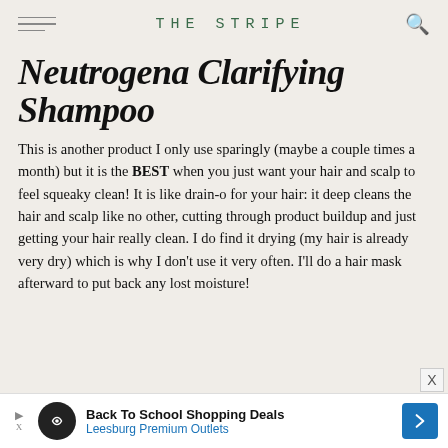THE STRIPE
Neutrogena Clarifying Shampoo
This is another product I only use sparingly (maybe a couple times a month) but it is the BEST when you just want your hair and scalp to feel squeaky clean! It is like drain-o for your hair: it deep cleans the hair and scalp like no other, cutting through product buildup and just getting your hair really clean. I do find it drying (my hair is already very dry) which is why I don't use it very often. I'll do a hair mask afterward to put back any lost moisture!
Back To School Shopping Deals Leesburg Premium Outlets